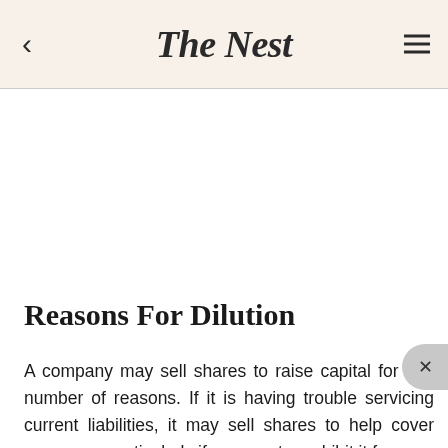The Nest
Reasons For Dilution
A company may sell shares to raise capital for any number of reasons. If it is having trouble servicing current liabilities, it may sell shares to help cover expenses, particularly if covenants prohibit it from